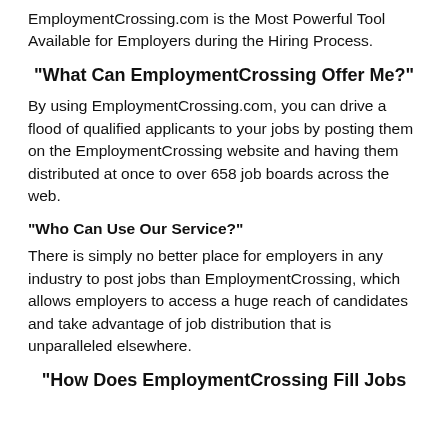EmploymentCrossing.com is the Most Powerful Tool Available for Employers during the Hiring Process.
"What Can EmploymentCrossing Offer Me?"
By using EmploymentCrossing.com, you can drive a flood of qualified applicants to your jobs by posting them on the EmploymentCrossing website and having them distributed at once to over 658 job boards across the web.
"Who Can Use Our Service?"
There is simply no better place for employers in any industry to post jobs than EmploymentCrossing, which allows employers to access a huge reach of candidates and take advantage of job distribution that is unparalleled elsewhere.
"How Does EmploymentCrossing Fill Jobs